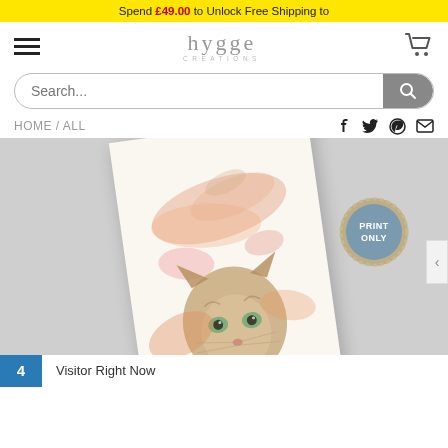Spend £49.00 to Unlock Free Shipping to
[Figure (logo): Hygge Creations logo with hamburger menu and cart icon]
Search...
HOME / ALL
[Figure (photo): Watercolor art print of a kitten with orange/pink brush strokes, displayed tilted on a grey textured surface. A gold 'PRINT ONLY' badge stamp is visible in the top right of the print.]
4  Visitor Right Now